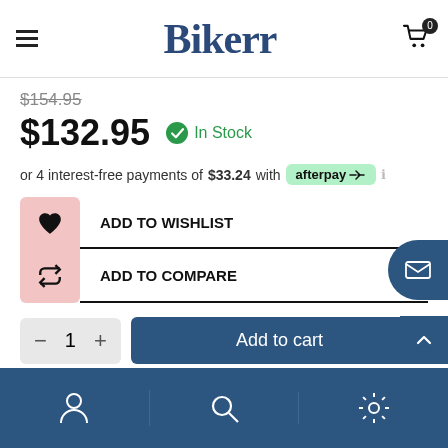Bikerr
$154.95 (strikethrough)
$132.95  In Stock
or 4 interest-free payments of $33.24 with afterpay
ADD TO WISHLIST
ADD TO COMPARE
- 1 +  Add to cart
Account | Search | Settings